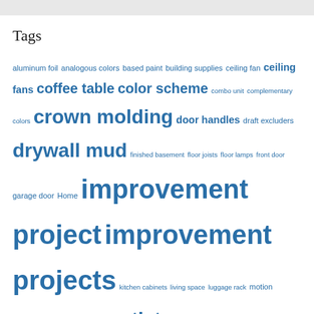Tags
aluminum foil analogous colors based paint building supplies ceiling fan ceiling fans coffee table color scheme combo unit complementary colors crown molding door handles draft excluders drywall mud finished basement floor joists floor lamps front door garage door Home improvement project improvement projects kitchen cabinets living space luggage rack motion detectors natural materials outlet covers quality paint radiant heat tiles renovation project save